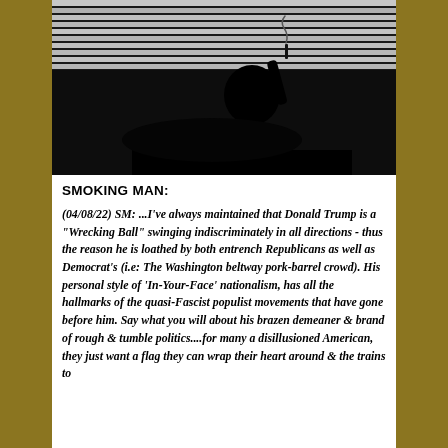[Figure (photo): Black and white silhouette photo of a person sitting and holding something up, with horizontal blinds or slats visible in the background.]
SMOKING MAN:
(04/08/22) SM: ...I've always maintained that Donald Trump is a "Wrecking Ball" swinging indiscriminately in all directions - thus the reason he is loathed by both entrench Republicans as well as Democrat's (i.e: The Washington beltway pork-barrel crowd). His personal style of 'In-Your-Face' nationalism, has all the hallmarks of the quasi-Fascist populist movements that have gone before him. Say what you will about his brazen demeaner & brand of rough & tumble politics....for many a disillusioned American, they just want a flag they can wrap their heart around & the trains to